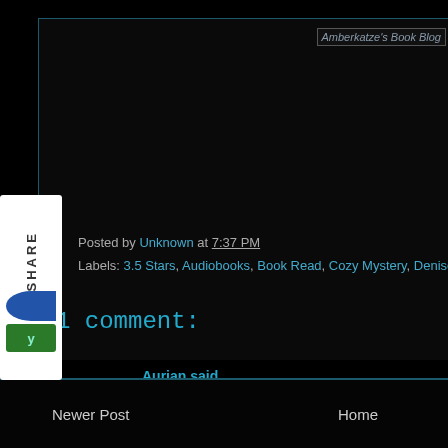[Figure (screenshot): Amberkatze's Book Blog logo/header image partially visible in top right]
[Figure (illustration): Share widget on left side with SHARE text and social icons]
Posted by Unknown at 7:37 PM
Labels: 3.5 Stars, Audiobooks, Book Read, Cozy Mystery, Denise Swans...
1 comment:
Aurian said...
[Figure (photo): Small avatar image of commenter Aurian]
I really need to start reading this author, thanks for the reminder A
December 21, 2015 at 7:36 PM
Post a Comment
Newer Post    Home